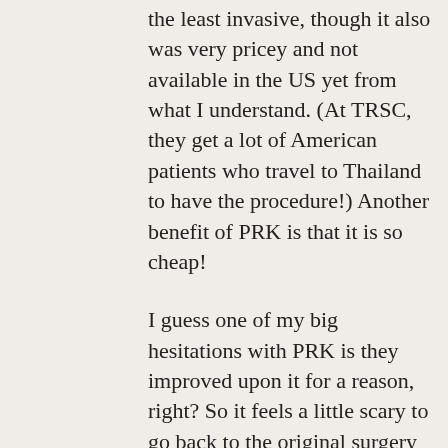the least invasive, though it also was very pricey and not available in the US yet from what I understand. (At TRSC, they get a lot of American patients who travel to Thailand to have the procedure!) Another benefit of PRK is that it is so cheap!
I guess one of my big hesitations with PRK is they improved upon it for a reason, right? So it feels a little scary to go back to the original surgery